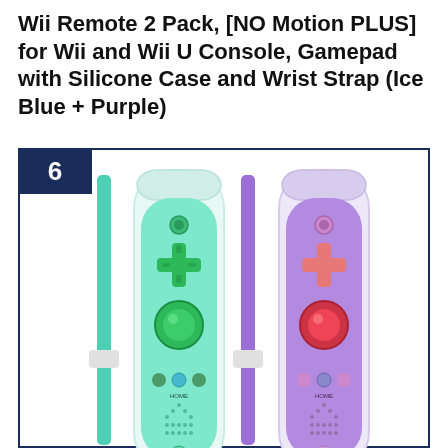Wii Remote 2 Pack, [NO Motion PLUS] for Wii and Wii U Console, Gamepad with Silicone Case and Wrist Strap (Ice Blue + Purple)
[Figure (photo): Two Wii remotes with silicone cases and wrist straps. Left remote is ice blue/mint colored with a green d-pad, green round button, and a teal wrist strap. Right remote is purple with a pink/red d-pad, red round button, and a purple wrist strap. Both have white silicone protective cases. The number 6 appears in a dark navy badge in the top-left corner of the product box.]